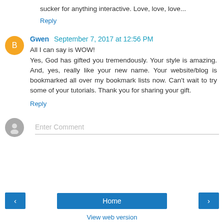sucker for anything interactive. Love, love, love...
Reply
Gwen  September 7, 2017 at 12:56 PM
All I can say is WOW!
Yes, God has gifted you tremendously. Your style is amazing. And, yes, really like your new name. Your website/blog is bookmarked all over my bookmark lists now. Can't wait to try some of your tutorials. Thank you for sharing your gift.
Reply
Enter Comment
Home
View web version